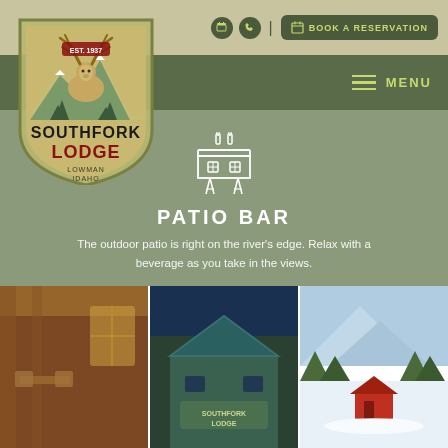BOOK A RESERVATION
[Figure (logo): Southfork Lodge logo - elk with antlers on shield, EST 1937, Lowman Idaho]
PATIO BAR
The outdoor patio is right on the river's edge. Relax with a beverage as you take in the views.
[Figure (photo): Interior of lodge with log cabin decor, wooden tables and chairs]
[Figure (photo): Exterior of Southfork Lodge building with sign, teal/green siding]
[Figure (photo): Winter snow scene with mountain, trees, and red barn structure]